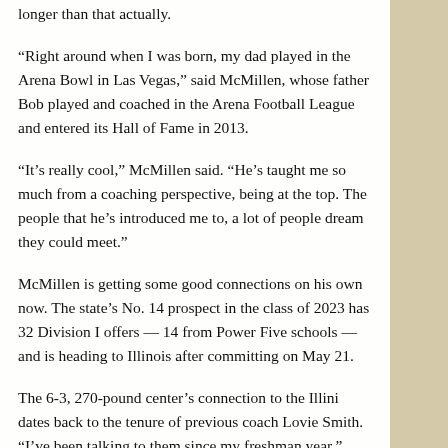Longer than that actually.
“Right around when I was born, my dad played in the Arena Bowl in Las Vegas,” said McMillen, whose father Bob played and coached in the Arena Football League and entered its Hall of Fame in 2013.
“It’s really cool,” McMillen said. “He’s taught me so much from a coaching perspective, being at the top. The people that he’s introduced me to, a lot of people dream they could meet.”
McMillen is getting some good connections on his own now. The state’s No. 14 prospect in the class of 2023 has 32 Division I offers — 14 from Power Five schools — and is heading to Illinois after committing on May 21.
The 6-3, 270-pound center’s connection to the Illini dates back to the tenure of previous coach Lovie Smith. “I’ve been talking to them since my freshman year,” McMillen said.